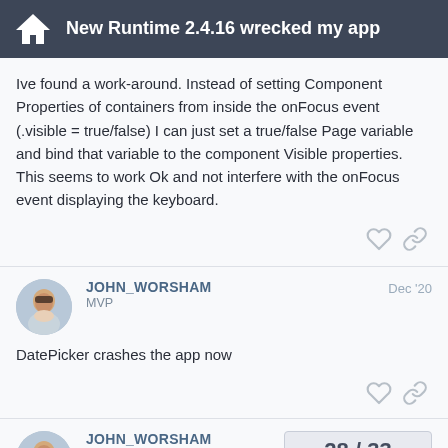New Runtime 2.4.16 wrecked my app
Ive found a work-around. Instead of setting Component Properties of containers from inside the onFocus event (.visible = true/false) I can just set a true/false Page variable and bind that variable to the component Visible properties. This seems to work Ok and not interfere with the onFocus event displaying the keyboard.
JOHN_WORSHAM
MVP
Dec '20
DatePicker crashes the app now
JOHN_WORSHAM
MVP
28 / 33